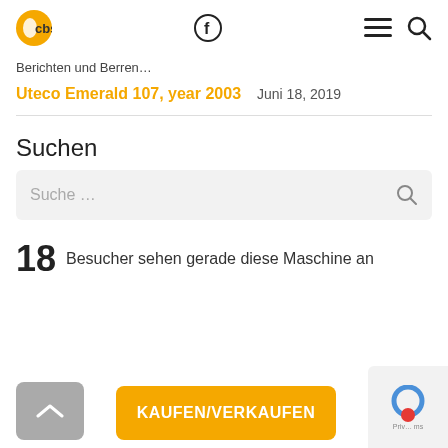cbs [logo] [facebook icon] [menu icon] [search icon]
Berichten und Berren…
Uteco Emerald 107, year 2003   Juni 18, 2019
Suchen
Suche …
18 Besucher sehen gerade diese Maschine an
KAUFEN/VERKAUFEN